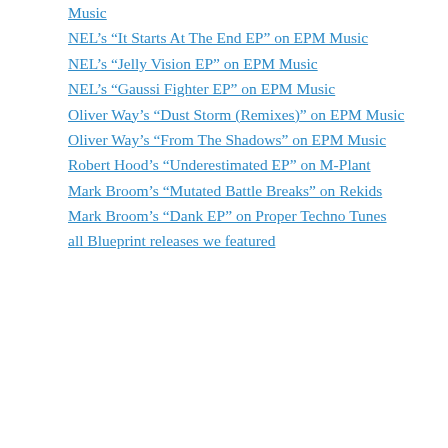Music
NEL's “It Starts At The End EP” on EPM Music
NEL’s “Jelly Vision EP” on EPM Music
NEL’s “Gaussi Fighter EP” on EPM Music
Oliver Way’s “Dust Storm (Remixes)” on EPM Music
Oliver Way’s “From The Shadows” on EPM Music
Robert Hood’s “Underestimated EP” on M-Plant
Mark Broom’s “Mutated Battle Breaks” on Rekids
Mark Broom’s “Dank EP” on Proper Techno Tunes
all Blueprint releases we featured